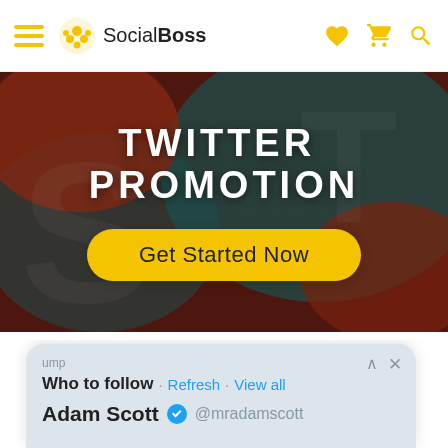[Figure (screenshot): SocialBoss website navbar with hamburger menu, logo, and icons]
TWITTER  PROMOTION
Get Started Now
[Figure (screenshot): Twitter mobile app screenshot showing 'Who to follow · Refresh · View all' and 'Adam Scott @mradamscott' with verified badge]